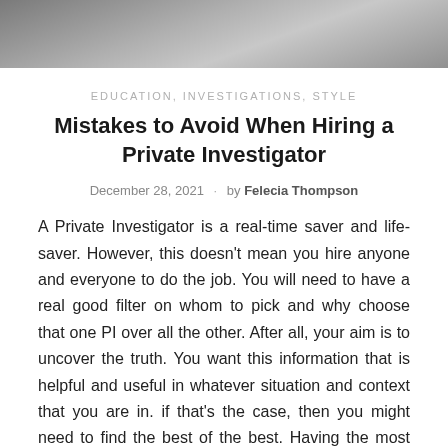[Figure (photo): Grayscale photo strip at top of page, partially visible, showing a blurred abstract or background scene.]
EDUCATION, INVESTIGATIONS, STYLE
Mistakes to Avoid When Hiring a Private Investigator
December 28, 2021  ·  by Felecia Thompson
A Private Investigator is a real-time saver and life-saver. However, this doesn't mean you hire anyone and everyone to do the job. You will need to have a real good filter on whom to pick and why choose that one PI over all the other. After all, your aim is to uncover the truth. You want this information that is helpful and useful in whatever situation and context that you are in. if that's the case, then you might need to find the best of the best. Having the most experienced and versatile